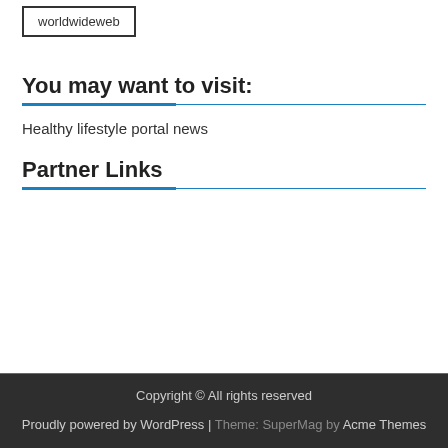worldwideweb
You may want to visit:
Healthy lifestyle portal news
Partner Links
Copyright © All rights reserved
Proudly powered by WordPress | Theme: SuperMag by Acme Themes